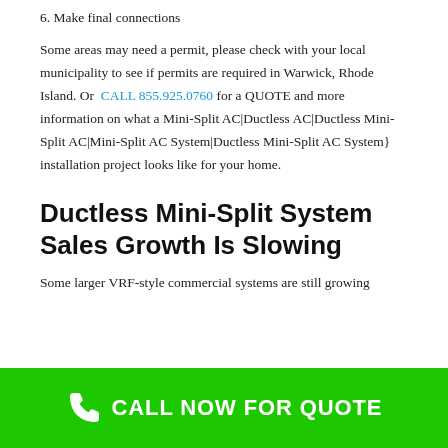6. Make final connections
Some areas may need a permit, please check with your local municipality to see if permits are required in Warwick, Rhode Island. Or CALL 855.925.0760 for a QUOTE and more information on what a Mini-Split AC|Ductless AC|Ductless Mini-Split AC|Mini-Split AC System|Ductless Mini-Split AC System} installation project looks like for your home.
Ductless Mini-Split System Sales Growth Is Slowing
Some larger VRF-style commercial systems are still growing
CALL NOW FOR QUOTE